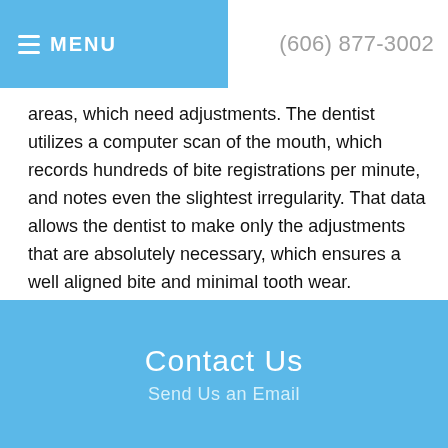≡ MENU   (606) 877-3002
areas, which need adjustments. The dentist utilizes a computer scan of the mouth, which records hundreds of bite registrations per minute, and notes even the slightest irregularity. That data allows the dentist to make only the adjustments that are absolutely necessary, which ensures a well aligned bite and minimal tooth wear.
If you suspect that you may need an occlusal adjustment, schedule an appointment.
Contact Us
Send Us an Email